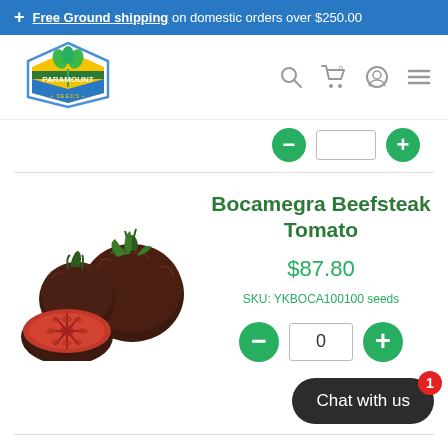+ Free Ground shipping on domestic orders over $250.00
[Figure (logo): Paramount Seeds logo - hexagonal badge with green plant, yellow sunburst, blue and green stripes]
Bocamegra Beefsteak Tomato
$87.80
SKU: YKBOCA100100 seeds
[Figure (photo): Dark brown/black beefsteak tomatoes, one sliced in half showing red interior]
Chat with us